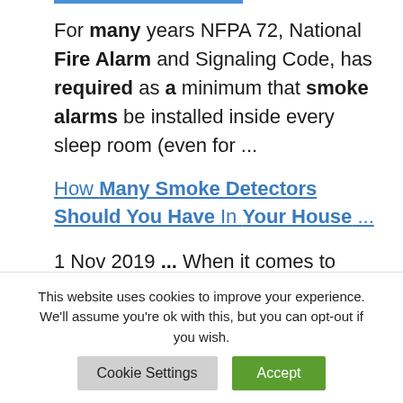For many years NFPA 72, National Fire Alarm and Signaling Code, has required as a minimum that smoke alarms be installed inside every sleep room (even for ...
How Many Smoke Detectors Should You Have In Your House ...
1 Nov 2019 ... When it comes to installing fire alarms in your home,
This website uses cookies to improve your experience. We'll assume you're ok with this, but you can opt-out if you wish.